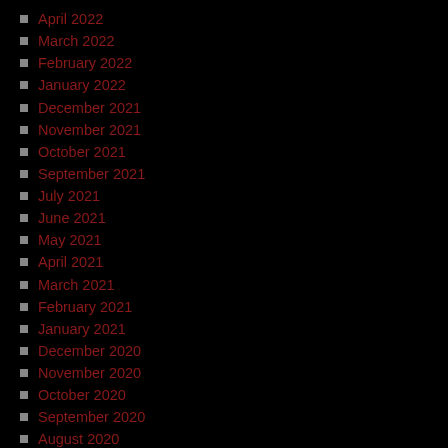April 2022
March 2022
February 2022
January 2022
December 2021
November 2021
October 2021
September 2021
July 2021
June 2021
May 2021
April 2021
March 2021
February 2021
January 2021
December 2020
November 2020
October 2020
September 2020
August 2020
July 2020
June 2020
May 2020